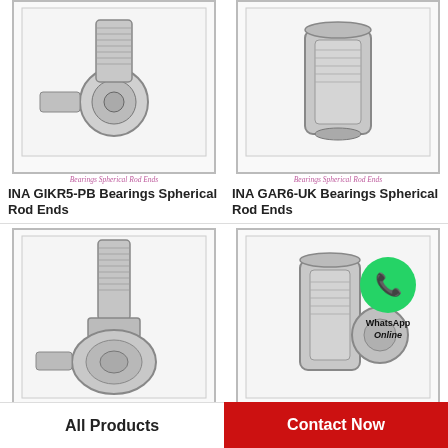[Figure (photo): INA GIKR5-PB Bearings Spherical Rod End product photo, metallic component on white background with decorative border]
Bearings Spherical Rod Ends
INA GIKR5-PB Bearings Spherical Rod Ends
[Figure (photo): INA GAR6-UK Bearings Spherical Rod End product photo, cylindrical metallic component on white background with decorative border]
Bearings Spherical Rod Ends
INA GAR6-UK Bearings Spherical Rod Ends
[Figure (photo): INA GIKR6-PB Bearings Spherical Rod End product photo, metallic rod end with threaded shaft on white background]
Bearings Spherical Rod Ends
INA GIKR6-PB Bearings Spherical Rod Ends
[Figure (photo): INA GAKL20-PW Bearings Spherical Rod End product photo with WhatsApp Online badge overlay]
Bearings Spherical Rod Ends
INA GAKL20-PW Bearings Spherical Rod...
All Products
Contact Now